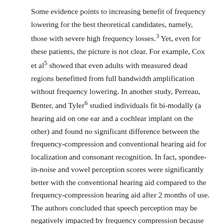Some evidence points to increasing benefit of frequency lowering for the best theoretical candidates, namely, those with severe high frequency losses.³ Yet, even for these patients, the picture is not clear. For example, Cox et al⁵ showed that even adults with measured dead regions benefitted from full bandwidth amplification without frequency lowering. In another study, Perreau, Benter, and Tyler⁶ studied individuals fit bi-modally (a hearing aid on one ear and a cochlear implant on the other) and found no significant difference between the frequency-compression and conventional hearing aid for localization and consonant recognition. In fact, spondee-in-noise and vowel perception scores were significantly better with the conventional hearing aid compared to the frequency-compression hearing aid after 2 months of use. The authors concluded that speech perception may be negatively impacted by frequency compression because formant frequencies are too severely compressed and can't be distinguished. Other studies that tested subjects with